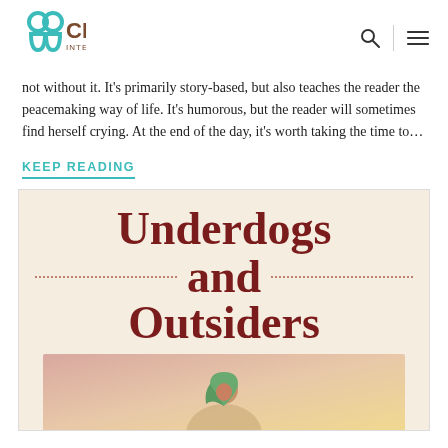CBE International
not without it. It’s primarily story-based, but also teaches the reader the peacemaking way of life. It’s humorous, but the reader will sometimes find herself crying. At the end of the day, it’s worth taking the time to…
KEEP READING
[Figure (illustration): Book cover for 'Underdogs and Outsiders' showing the title text in dark red/maroon on a light background, with dotted lines flanking the word 'and', and an illustrated image of a woman in a green headscarf below the title text.]